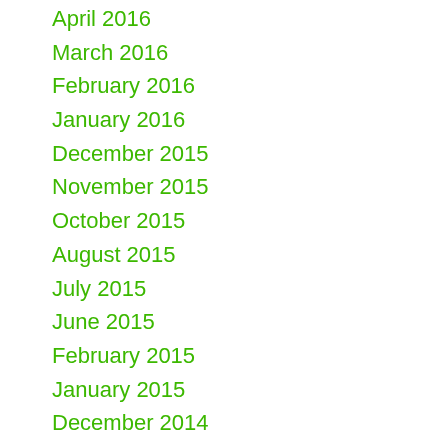April 2016
March 2016
February 2016
January 2016
December 2015
November 2015
October 2015
August 2015
July 2015
June 2015
February 2015
January 2015
December 2014
November 2014
September 2014
August 2014